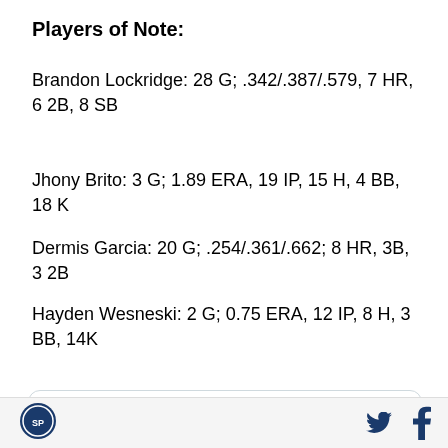Players of Note:
Brandon Lockridge: 28 G; .342/.387/.579, 7 HR, 6 2B, 8 SB
Jhony Brito: 3 G; 1.89 ERA, 19 IP, 15 H, 4 BB, 18 K
Dermis Garcia: 20 G; .254/.361/.662; 8 HR, 3B, 3 2B
Hayden Wesneski: 2 G; 0.75 ERA, 12 IP, 8 H, 3 BB, 14K
[Figure (screenshot): Embedded tweet card from Somerset Patriots (@SOMPatriots) with Twitter verified badge and Follow link. Partial tweet text visible: 'Leadoff homers ... Somerset Patriots']
Somerset Patriots logo icon, Twitter bird icon, Facebook f icon